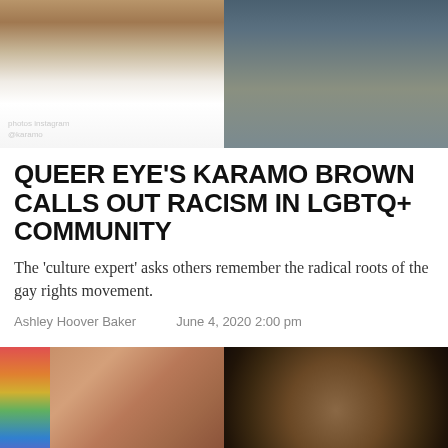[Figure (photo): Two photos side by side at top: left shows a person in white pants with a watch, right shows a person in a gray top against green foliage. Photo credit reads 'photos instagram @karamo']
QUEER EYE'S KARAMO BROWN CALLS OUT RACISM IN LGBTQ+ COMMUNITY
The 'culture expert' asks others remember the radical roots of the gay rights movement.
Ashley Hoover Baker    June 4, 2020 2:00 pm
[Figure (photo): Two photos side by side: left shows a young woman with long hair looking pensive, colorful background on left. Right shows a bald Black man with a full beard wearing a dark patterned blazer with bow tie, looking serious.]